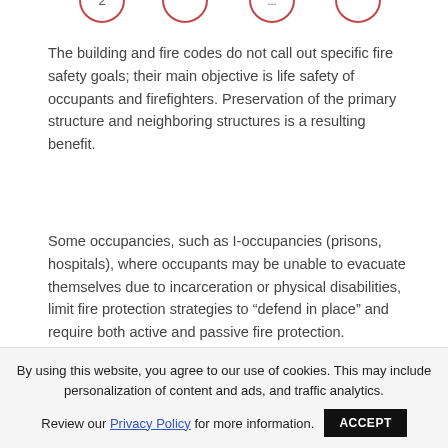[Figure (other): Partial view of circular numbered step indicators with red borders at the top of the page]
The building and fire codes do not call out specific fire safety goals; their main objective is life safety of occupants and firefighters. Preservation of the primary structure and neighboring structures is a resulting benefit.
Some occupancies, such as I-occupancies (prisons, hospitals), where occupants may be unable to evacuate themselves due to incarceration or physical disabilities, limit fire protection strategies to "defend in place" and require both active and passive fire protection.
By using this website, you agree to our use of cookies. This may include personalization of content and ads, and traffic analytics. Review our Privacy Policy for more information. ACCEPT